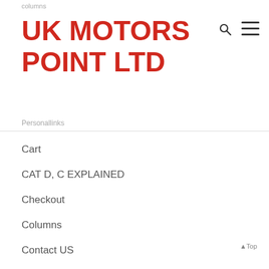columns
UK MOTORS POINT LTD
Personallinks
Cart
CAT D, C EXPLAINED
Checkout
Columns
Contact US
Content Box
Faq-02
Feature Box
FINANCE SPECIALISTS
Home 9